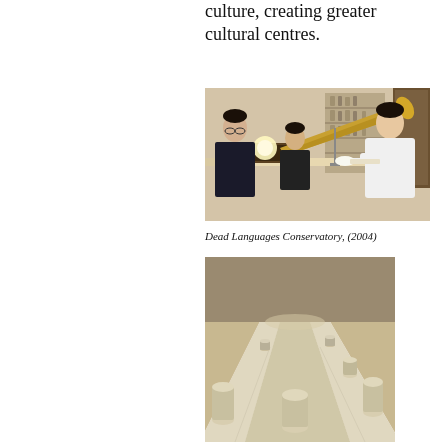culture, creating greater cultural centres.
[Figure (photo): Three people examining an antique gramophone or phonograph with a large brass horn, in what appears to be a museum or conservatory setting with shelves of objects in the background.]
Dead Languages Conservatory, (2004)
[Figure (photo): An architectural model or installation showing a long white pathway or corridor with cylindrical objects placed along its sides, viewed from a low angle.]